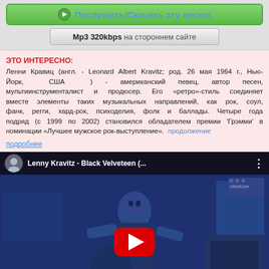Послушать/Скачать эту песню
Mp3 320kbps на стороннем сайте
ЭТО ИНТЕРЕСНО:
Ленни Кравиц (англ. - Leonard Albert Kravitz; род. 26 мая 1964 г., Нью-Йорк, США ) - американский певец, автор песен, мультиинструменталист и продюсер. Его «ретро»-стиль соединяет вместе элементы таких музыкальных направлений, как рок, соул, фанк, регги, хард-рок, психоделия, фолк и баллады. Четыре года подряд (с 1999 по 2002) становился обладателем премии 'Грэмми' в номинации «Лучшее мужское рок-выступление». продолжение
подробнее
[Figure (screenshot): YouTube video player showing Lenny Kravitz - Black Velveteen with a guitarist playing in blue-tinted photo, red YouTube play button overlay, channel avatar, video title and close button]